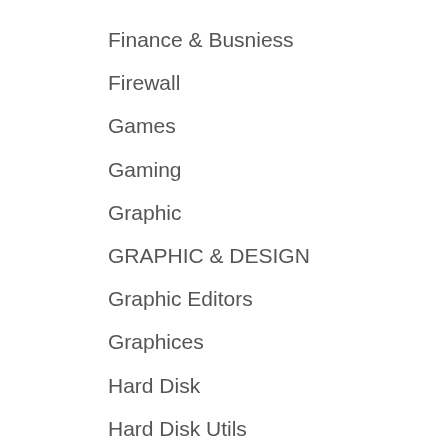Finance & Busniess
Firewall
Games
Gaming
Graphic
GRAPHIC & DESIGN
Graphic Editors
Graphices
Hard Disk
Hard Disk Utils
Home & Education